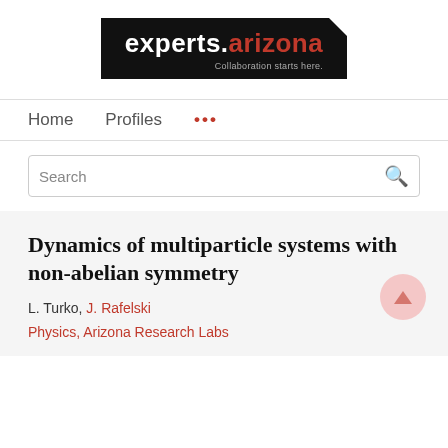[Figure (logo): experts.arizona logo — white text on black background with tagline 'Collaboration starts here.']
Home   Profiles   ...
Search
Dynamics of multiparticle systems with non-abelian symmetry
L. Turko, J. Rafelski
Physics, Arizona Research Labs